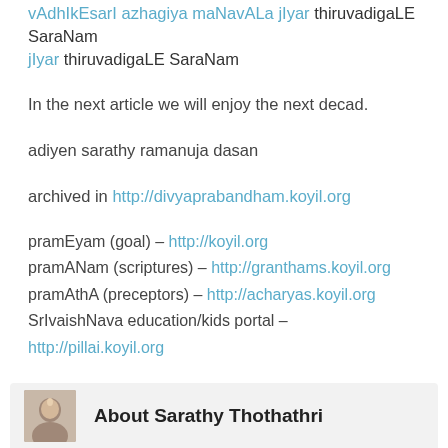vAdhIkEsarI azhagiya maNavALa jIyar thiruvadigaLE SaraNam
jIyar thiruvadigaLE SaraNam
In the next article we will enjoy the next decad.
adiyen sarathy ramanuja dasan
archived in http://divyaprabandham.koyil.org
pramEyam (goal) – http://koyil.org
pramANam (scriptures) – http://granthams.koyil.org
pramAthA (preceptors) – http://acharyas.koyil.org
SrIvaishNava education/kids portal – http://pillai.koyil.org
About Sarathy Thothathri